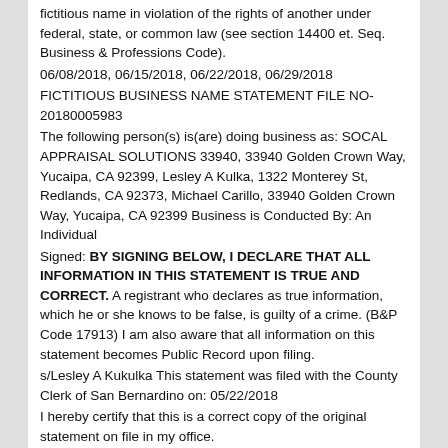fictitious name in violation of the rights of another under federal, state, or common law (see section 14400 et. Seq. Business & Professions Code).
06/08/2018, 06/15/2018, 06/22/2018, 06/29/2018
FICTITIOUS BUSINESS NAME STATEMENT FILE NO-20180005983
The following person(s) is(are) doing business as: SOCAL APPRAISAL SOLUTIONS 33940, 33940 Golden Crown Way, Yucaipa, CA 92399, Lesley A Kulka, 1322 Monterey St, Redlands, CA 92373, Michael Carillo, 33940 Golden Crown Way, Yucaipa, CA 92399 Business is Conducted By: An Individual
Signed: BY SIGNING BELOW, I DECLARE THAT ALL INFORMATION IN THIS STATEMENT IS TRUE AND CORRECT. A registrant who declares as true information, which he or she knows to be false, is guilty of a crime. (B&P Code 17913) I am also aware that all information on this statement becomes Public Record upon filing.
s/Lesley A Kukulka This statement was filed with the County Clerk of San Bernardino on: 05/22/2018
I hereby certify that this is a correct copy of the original statement on file in my office.